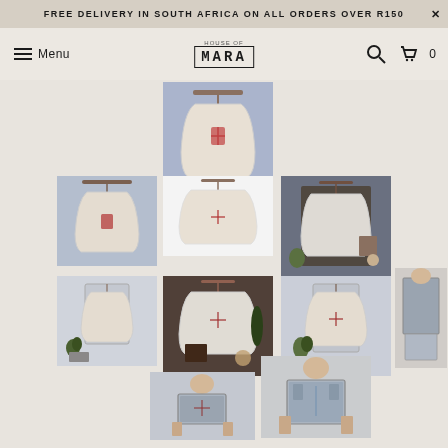FREE DELIVERY IN SOUTH AFRICA ON ALL ORDERS OVER R150
[Figure (screenshot): E-commerce website navigation bar with hamburger menu labeled 'Menu', centered logo 'MARA', search icon, and cart icon with 0 items]
[Figure (photo): Product image gallery showing multiple thumbnails of a white sleeveless dress/apron with cross detail on a hanger, displayed in various room settings and size references held by a person]